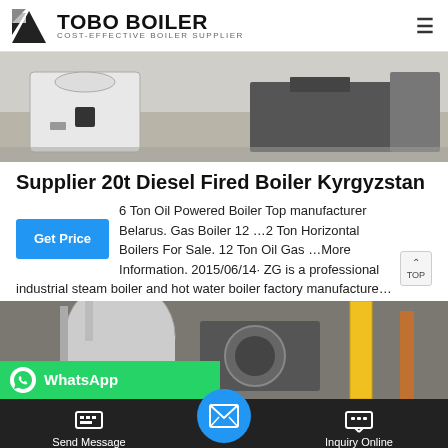TOBO BOILER — COST-EFFECTIVE BOILER SUPPLIER
[Figure (photo): Industrial boiler equipment in a factory/warehouse setting — white and black boiler unit on the floor]
Supplier 20t Diesel Fired Boiler Kyrgyzstan
6 Ton Oil Powered Boiler Top manufacturer Belarus. Gas Boiler 12 … 12 Ton Horizontal Boilers For Sale. 12 Ton Oil Gas … More Information. 2015/06/14· ZG is a professional industrial steam boiler and hot water boiler factory manufacture…
[Figure (photo): Industrial boiler piping and equipment — yellow and grey pipes, large cylindrical vessels in a factory]
Send Message | Inquiry Online